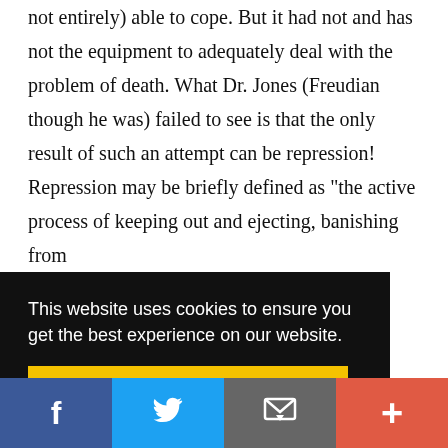not entirely) able to cope. But it had not and has not the equipment to adequately deal with the problem of death. What Dr. Jones (Freudian though he was) failed to see is that the only result of such an attempt can be repression! Repression may be briefly defined as "the active process of keeping out and ejecting, banishing from
This website uses cookies to ensure you get the best experience on our website.
Got it!
[Figure (infographic): Social share bar with Facebook, Twitter, email/envelope, and plus buttons]